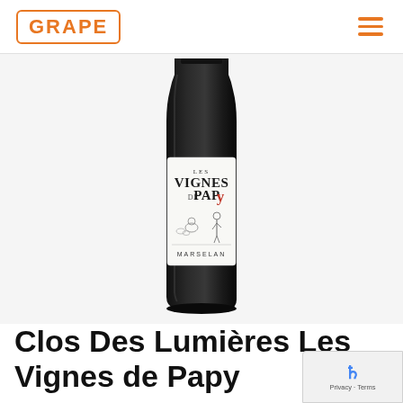GRAPE
[Figure (photo): A dark wine bottle with a white label reading LES VIGNES DE PAPY MARSELAN, with an illustration of a man and a dog in a vineyard on the label.]
Clos Des Lumières Les Vignes de Papy